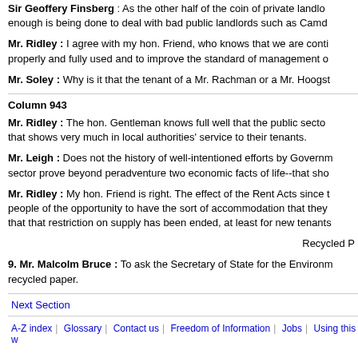Sir Geoffery Finsberg : As the other half of the coin of private landlords, enough is being done to deal with bad public landlords such as Camd
Mr. Ridley : I agree with my hon. Friend, who knows that we are continuing powers properly and fully used and to improve the standard of management o
Mr. Soley : Why is it that the tenant of a Mr. Rachman or a Mr. Hoogst
Column 943
Mr. Ridley : The hon. Gentleman knows full well that the public sector that shows very much in local authorities' service to their tenants.
Mr. Leigh : Does not the history of well-intentioned efforts by Government sector prove beyond peradventure two economic facts of life--that sho
Mr. Ridley : My hon. Friend is right. The effect of the Rent Acts since people of the opportunity to have the sort of accommodation that they that that restriction on supply has been ended, at least for new tenants
Recycled P
9. Mr. Malcolm Bruce : To ask the Secretary of State for the Environment recycled paper.
Next Section
A-Z index | Glossary | Contact us | Freedom of Information | Jobs | Using this w